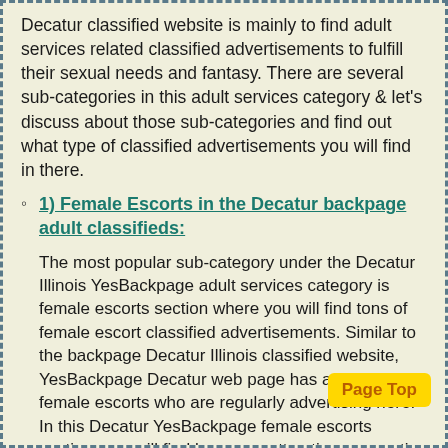Decatur classified website is mainly to find adult services related classified advertisements to fulfill their sexual needs and fantasy. There are several sub-categories in this adult services category & let's discuss about those sub-categories and find out what type of classified advertisements you will find in there.
1) Female Escorts in the Decatur backpage adult classifieds:
The most popular sub-category under the Decatur Illinois YesBackpage adult services category is female escorts section where you will find tons of female escort classified advertisements. Similar to the backpage Decatur Illinois classified website, YesBackpage Decatur web page has a huge list of female escorts who are regularly advertising here. In this Decatur YesBackpage female escorts section, you will find b... attractive, energetic escorts who will provide you top class services and full satisfaction